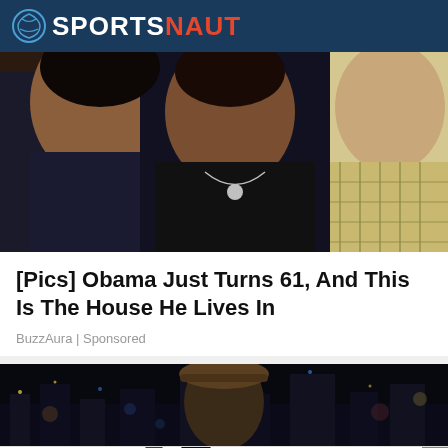SPORTSNAUT
[Figure (photo): Close-up photo of three people, two women in foreground wearing black tops and a person in plaid shirt on right]
[Pics] Obama Just Turns 61, And This Is The House He Lives In
BuzzAura | Sponsored
[Figure (photo): Night cityscape with a person in a hat visible, blurred city lights in background]
[Figure (infographic): Aeropostale advertisement banner: 50-70% off Everything! BUY NOW, with two female models]